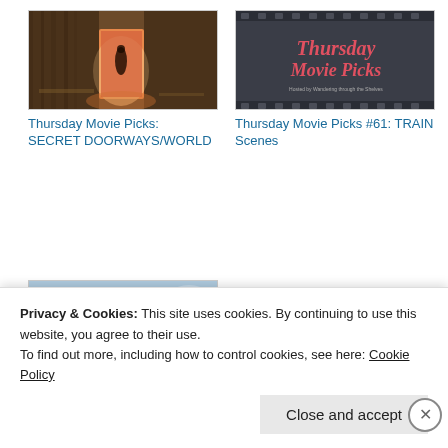[Figure (photo): Movie still showing a figure at a glowing red doorway inside a wooden barn-like structure]
Thursday Movie Picks: SECRET DOORWAYS/WORLD
[Figure (photo): Dark film strip background with pink/red script text reading 'Thursday Movie Picks' and subtitle text]
Thursday Movie Picks #61: TRAIN Scenes
[Figure (photo): Three women wearing wide-brimmed hats standing outdoors in period costume]
Privacy & Cookies: This site uses cookies. By continuing to use this website, you agree to their use. To find out more, including how to control cookies, see here: Cookie Policy
Close and accept